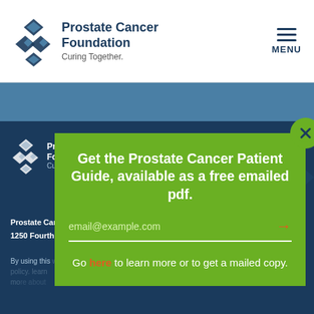[Figure (logo): Prostate Cancer Foundation logo with ribbon/chain icon in dark blue]
Prostate Cancer Foundation
Curing Together.
[Figure (other): Hamburger menu icon with MENU label]
[Figure (logo): Prostate Cancer Foundation logo repeated in white in footer area]
Prostate Cancer Foundation
1250 Fourth St...
By using this website you agree to our privacy policy. learn more...
[Figure (screenshot): Green modal popup overlay with close button]
Get the Prostate Cancer Patient Guide, available as a free emailed pdf.
email@example.com
Go here to learn more or to get a mailed copy.